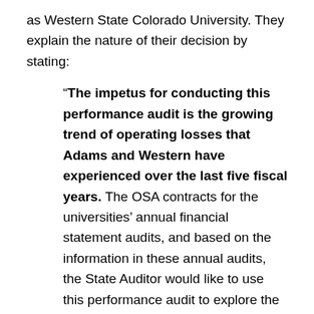as Western State Colorado University. They explain the nature of their decision by stating:
“The impetus for conducting this performance audit is the growing trend of operating losses that Adams and Western have experienced over the last five fiscal years. The OSA contracts for the universities’ annual financial statement audits, and based on the information in these annual audits, the State Auditor would like to use this performance audit to explore the factors driving these financial trends and, more importantly, what each university is doing in response.”